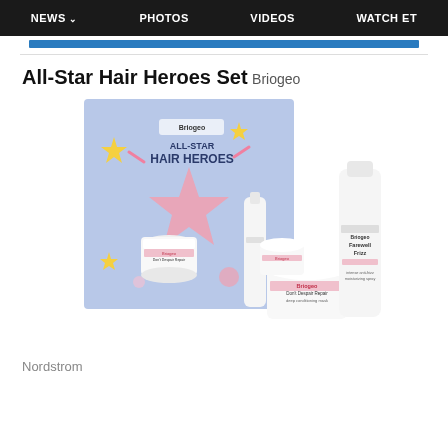NEWS  PHOTOS  VIDEOS  WATCH ET
All-Star Hair Heroes Set
Briogeo
[Figure (photo): Briogeo All-Star Hair Heroes Set product photo showing a light blue gift box with star decorations and the text 'Briogeo ALL-STAR HAIR HEROES', alongside multiple white Briogeo hair product containers including Don't Despair Repair deep conditioning mask jars and Farewell Frizz containers.]
Nordstrom